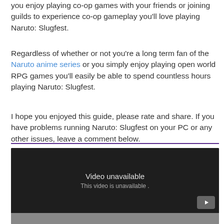you enjoy playing co-op games with your friends or joining guilds to experience co-op gameplay you'll love playing Naruto: Slugfest.
Regardless of whether or not you're a long term fan of the Naruto anime series or you simply enjoy playing open world RPG games you'll easily be able to spend countless hours playing Naruto: Slugfest.
I hope you enjoyed this guide, please rate and share. If you have problems running Naruto: Slugfest on your PC or any other issues, leave a comment below.
[Figure (screenshot): Embedded YouTube video player showing 'Video unavailable' message with text 'This video is unavailable' and YouTube logo button in bottom-right corner.]